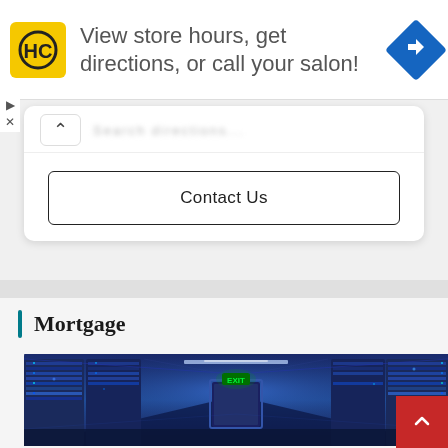[Figure (screenshot): Advertisement banner with HC logo, text 'View store hours, get directions, or call your salon!' and blue navigation diamond icon]
Contact Us
Mortgage
[Figure (photo): Data center hallway with blue lighting, server racks on both sides, green exit sign, and a door at the end]